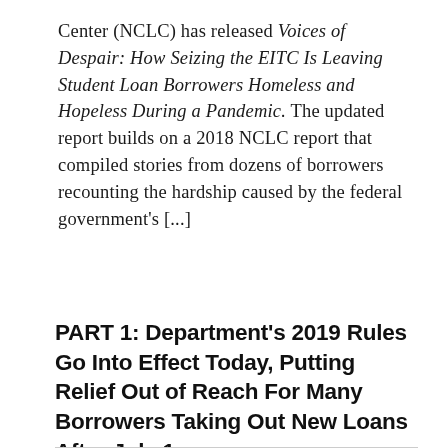Center (NCLC) has released Voices of Despair: How Seizing the EITC Is Leaving Student Loan Borrowers Homeless and Hopeless During a Pandemic. The updated report builds on a 2018 NCLC report that compiled stories from dozens of borrowers recounting the hardship caused by the federal government's [...]
Continue Reading →
PART 1: Department's 2019 Rules Go Into Effect Today, Putting Relief Out of Reach For Many Borrowers Taking Out New Loans After July 1